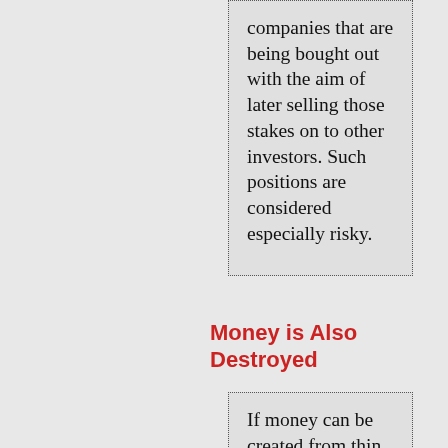companies that are being bought out with the aim of later selling those stakes on to other investors. Such positions are considered especially risky.
Money is Also Destroyed
If money can be created from thin air, the opposite